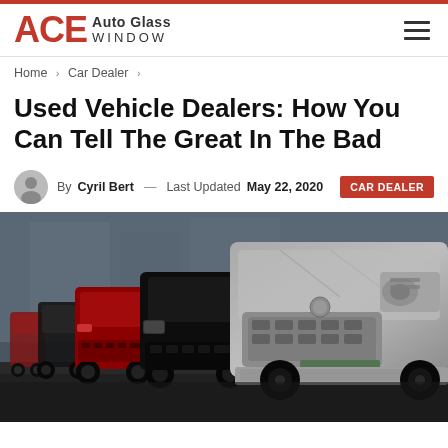ACE Auto Glass Window
Home > Car Dealer >
Used Vehicle Dealers: How You Can Tell The Great In The Bad
By Cyril Bert — Last Updated May 22, 2020 | CAR DEALER
[Figure (photo): Row of used vehicles lined up at a car dealership lot, photographed from a low front angle showing headlights and grilles. Includes red and dark-colored cars, with a silver Mercedes in the foreground.]